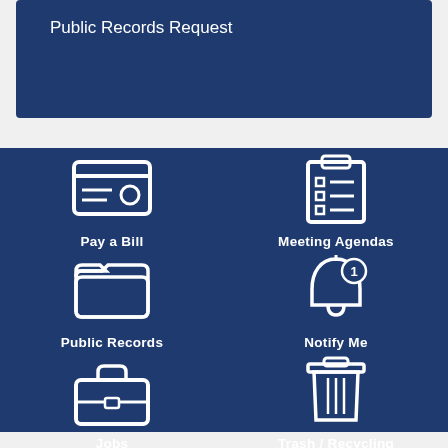Public Records Request
[Figure (infographic): Government services icon grid on dark blue background with 6 icons: Pay a Bill (credit card icon), Meeting Agendas (clipboard with checklist icon), Public Records (open folder icon), Notify Me (bell with number 1 badge icon), Jobs (briefcase icon), Trash / Recycling (trash can icon)]